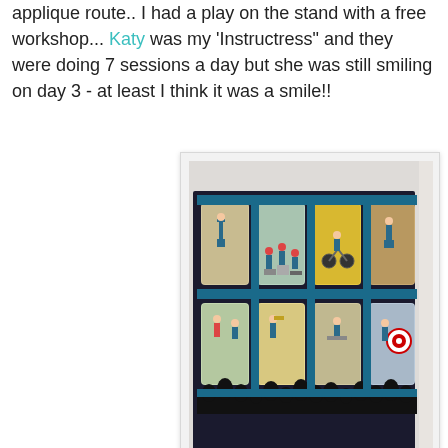applique route.. I had a play on the stand with a free workshop... Katy was my 'Instructress" and they were doing 7 sessions a day but she was still smiling on day 3 - at least I think it was a smile!!
[Figure (photo): A quilt displayed on a wall showing 8 panels arranged in 2 rows of 4, each depicting cartoon-style athletes in various Olympic sports scenes with colorful blue and teal borders, silhouettes of spectators along the bottom.]
This years 'Best in Show' quilt was a step towards normality... From the group that brought us the "Meerkat' quilt from last year, this year they came up with the Quilters Olympics... great fun, well made and a quilt that many of us 'normal' quilters could see ourselves making if only we had the ideas.. It is so refreshing to have an injection of fun instead of taking ourselves too seriously. It has probably